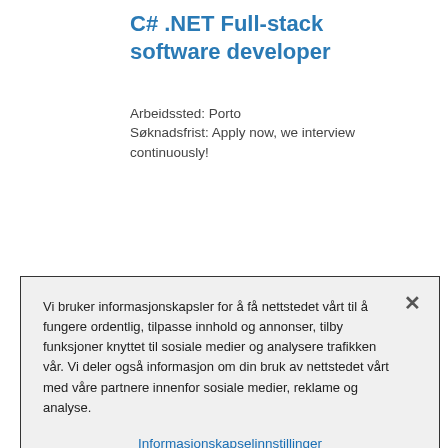C# .NET Full-stack software developer
Arbeidssted: Porto
Søknadsfrist: Apply now, we interview continuously!
Vi bruker informasjonskapsler for å få nettstedet vårt til å fungere ordentlig, tilpasse innhold og annonser, tilby funksjoner knyttet til sosiale medier og analysere trafikken vår. Vi deler også informasjon om din bruk av nettstedet vårt med våre partnere innenfor sosiale medier, reklame og analyse.
Informasjonskapselinnstillinger
Reject All
Godta alle cookier